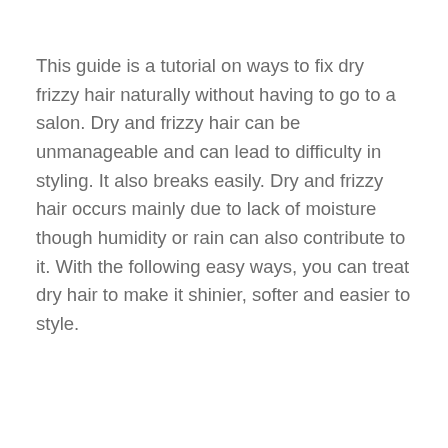This guide is a tutorial on ways to fix dry frizzy hair naturally without having to go to a salon. Dry and frizzy hair can be unmanageable and can lead to difficulty in styling. It also breaks easily. Dry and frizzy hair occurs mainly due to lack of moisture though humidity or rain can also contribute to it. With the following easy ways, you can treat dry hair to make it shinier, softer and easier to style.